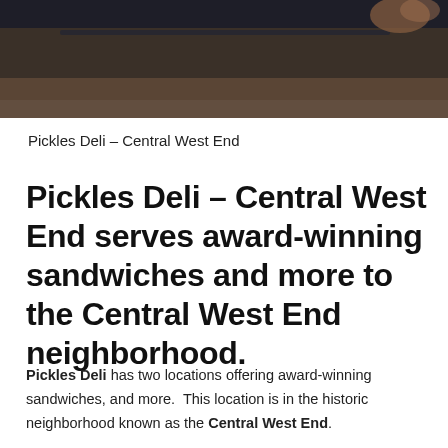[Figure (photo): Partial photo of food items on a dark-colored grill or surface, mostly cropped, dark browns and grays]
Pickles Deli – Central West End
Pickles Deli – Central West End serves award-winning sandwiches and more to the Central West End neighborhood.
Pickles Deli has two locations offering award-winning sandwiches, and more.  This location is in the historic neighborhood known as the Central West End.